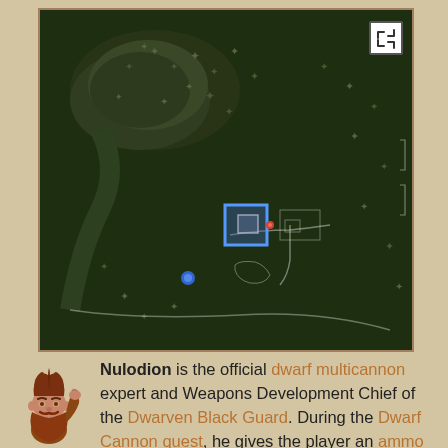[Figure (screenshot): Top-down game map screenshot showing a dark green forested area with a blue highlighted square marker indicating a location, white path outlines, and a blue dot. A small expand icon appears in the top-right corner of the map.]
[Figure (illustration): Cartoon illustration of a dwarf character with brown hair and beard, raising one hand.]
Nulodion is the official dwarf multicannon expert and Weapons Development Chief of the Dwarven Black Guard. During the Dwarf Cannon quest, he gives the player an ammo